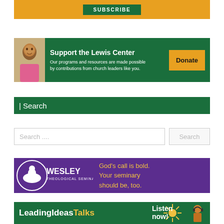[Figure (screenshot): Orange subscription banner with green SUBSCRIBE button]
[Figure (screenshot): Green banner for Support the Lewis Center with child photo and Donate button]
| Search
Search ....
[Figure (screenshot): Purple Wesley Theological Seminary banner with tagline: God's call is bold. Your seminary should be, too.]
[Figure (screenshot): Green Leading Ideas Talks banner with Listen now text and person with headphones]